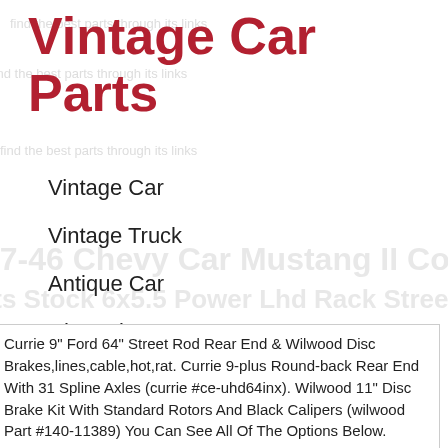Vintage Car Parts
Vintage Car
Vintage Truck
Antique Car
Chevrolet
Ford
Rolls Royce
Currie 9" Ford 64" Street Rod Rear End & Wilwood Disc Brakes,lines,cable,hot,rat. Currie 9-plus Round-back Rear End With 31 Spline Axles (currie #ce-uhd64inx). Wilwood 11" Disc Brake Kit With Standard Rotors And Black Calipers (wilwood Part #140-11389) You Can See All Of The Options Below.